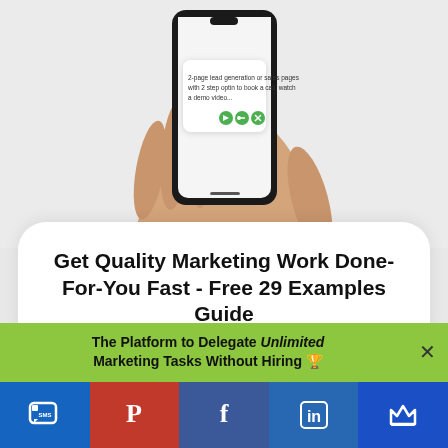[Figure (photo): Hand holding a smartphone displaying a card with text about 2-page lead generation or sales pages with 2 step optin to book a call, watch a demo video... with green action buttons]
Get Quality Marketing Work Done-For-You Fast - Free 29 Examples Guide
The Platform to Delegate Unlimited Marketing Tasks Without Hiring 🏆
[Figure (infographic): Social sharing bar with SMS, Pinterest, Facebook, LinkedIn, and crown/bookmark buttons]